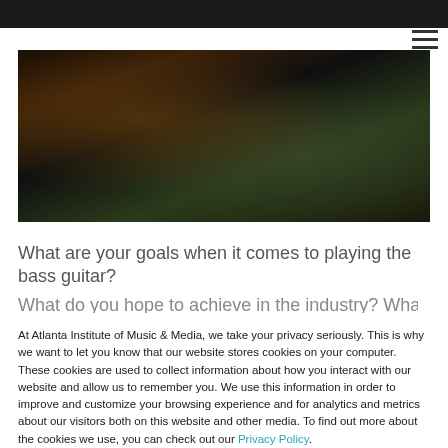[Figure (photo): Close-up photo of a bass guitar, showing the body, strings, and tuning pegs in dark moody lighting]
What are your goals when it comes to playing the bass guitar?
What do you hope to achieve in the industry? What will you
At Atlanta Institute of Music & Media, we take your privacy seriously. This is why we want to let you know that our website stores cookies on your computer. These cookies are used to collect information about how you interact with our website and allow us to remember you. We use this information in order to improve and customize your browsing experience and for analytics and metrics about our visitors both on this website and other media. To find out more about the cookies we use, you can check out our Privacy Policy.